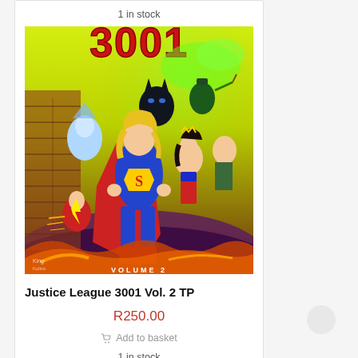1 in stock
[Figure (illustration): Comic book cover for Justice League 3001 Vol. 2, showing various DC superheroes including a female Superman, Batman, Wonder Woman, Green Arrow, and others in an action pose against a green and yellow background. Text at the top reads '3001' and bottom reads 'VOLUME 2'.]
Justice League 3001 Vol. 2 TP
R250.00
Add to basket
1 in stock